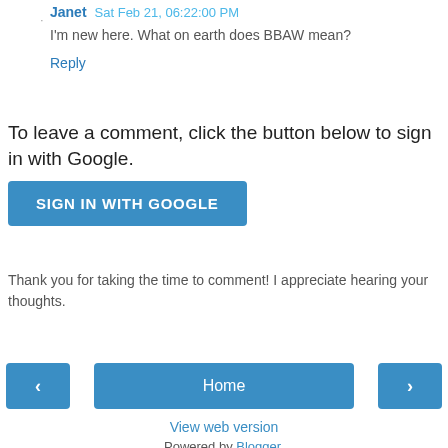Janet  Sat Feb 21, 06:22:00 PM
I'm new here. What on earth does BBAW mean?
Reply
To leave a comment, click the button below to sign in with Google.
[Figure (other): SIGN IN WITH GOOGLE button]
Thank you for taking the time to comment! I appreciate hearing your thoughts.
[Figure (other): Navigation row with left arrow button, Home button, and right arrow button]
View web version
Powered by Blogger.